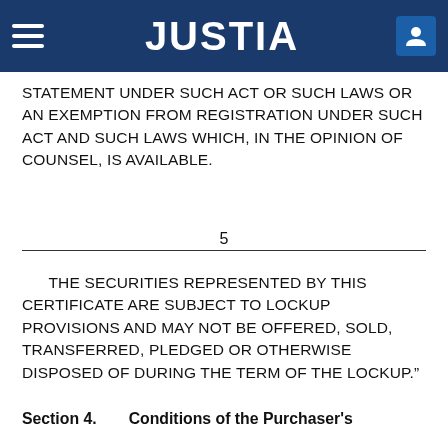JUSTIA
STATEMENT UNDER SUCH ACT OR SUCH LAWS OR AN EXEMPTION FROM REGISTRATION UNDER SUCH ACT AND SUCH LAWS WHICH, IN THE OPINION OF COUNSEL, IS AVAILABLE.
5
THE SECURITIES REPRESENTED BY THIS CERTIFICATE ARE SUBJECT TO LOCKUP PROVISIONS AND MAY NOT BE OFFERED, SOLD, TRANSFERRED, PLEDGED OR OTHERWISE DISPOSED OF DURING THE TERM OF THE LOCKUP."
Section 4.     Conditions of the Purchaser's